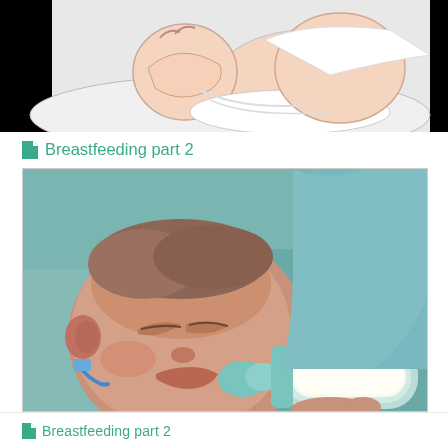[Figure (illustration): Cartoon illustration of breastfeeding position showing a baby nursing, with black background and white/peach-colored line drawing style image]
Breastfeeding part 2
[Figure (photo): Photograph of a newborn baby being bottle-fed with a clear bottle containing white milk. The baby is dressed in teal/light blue clothing and is held by a person also in teal clothing. A medical tube is visible near the baby.]
Breastfeeding part 2